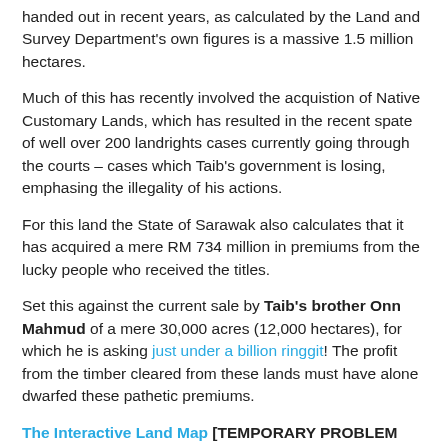handed out in recent years, as calculated by the Land and Survey Department's own figures is a massive 1.5 million hectares.
Much of this has recently involved the acquistion of Native Customary Lands, which has resulted in the recent spate of well over 200 landrights cases currently going through the courts – cases which Taib's government is losing, emphasing the illegality of his actions.
For this land the State of Sarawak also calculates that it has acquired a mere RM 734 million in premiums from the lucky people who received the titles.
Set this against the current sale by Taib's brother Onn Mahmud of a mere 30,000 acres (12,000 hectares), for which he is asking just under a billion ringgit! The profit from the timber cleared from these lands must have alone dwarfed these pathetic premiums.
The Interactive Land Map [TEMPORARY PROBLEM WITH THIS MAP - WILL BE RESOLVED SHORTLY, PLEASE BE PATIENT AND CONTRIBUTE SOON!